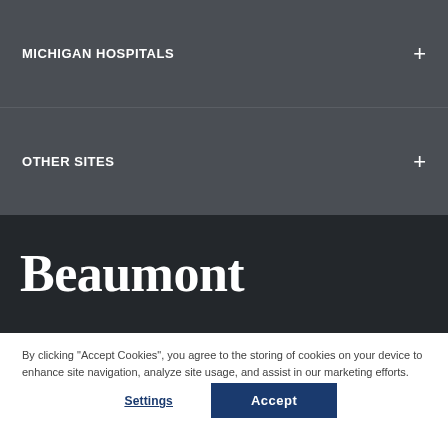MICHIGAN HOSPITALS
OTHER SITES
Beaumont
By clicking “Accept Cookies”, you agree to the storing of cookies on your device to enhance site navigation, analyze site usage, and assist in our marketing efforts.
Settings
Accept